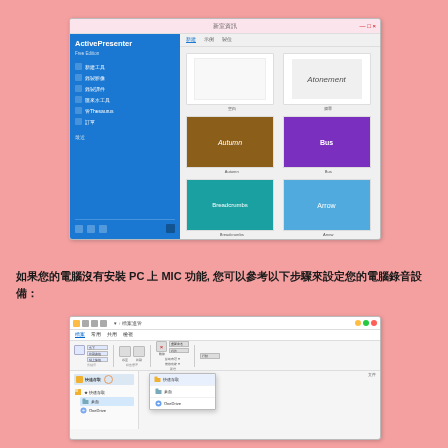[Figure (screenshot): Screenshot of ActivePresenter application showing its welcome/start screen with a blue sidebar containing menu items (新建工具, 錄製影像, 錄製課件, 匯來水工具, 管Thesaurus, 訂單, 最近) and a template gallery on the right showing various templates including Autumn, Bus, Breadcrumbs, Arrow, Calendar, Circuit]
如果您的電腦沒有安裝 PC 上 MIC 功能, 您可以參考以下步驟來設定您的電腦錄音設備：
[Figure (screenshot): Screenshot of Windows File Explorer showing the ribbon interface with tabs (檔案, 常用, 共用, 檢視) and a dropdown menu appearing from the Quick Access (快速存取) section showing options including 桌面, OneDrive, and 文件]